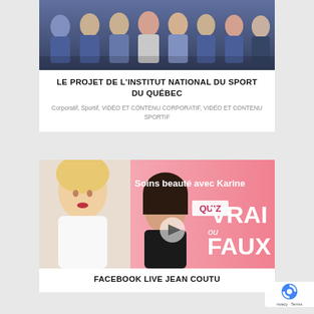[Figure (photo): Group photo of athletes in blue and dark grey Under Armour sports jackets, standing together in a row, posed for a team photo.]
LE PROJET DE L'INSTITUT NATIONAL DU SPORT DU QUÉBEC
Corporatif, Sportif, VIDÉO ET CONTENU CORPORATIF, VIDÉO ET CONTENU SPORTIF
[Figure (photo): Promotional image for Facebook Live Jean Coutu featuring two women — one blonde in white jacket on left, one brunette in black — against a pink background with French text 'Soins beauté avec Karine' and 'QUIZ VRAI ou FAUX' with a play button icon.]
FACEBOOK LIVE JEAN COUTU